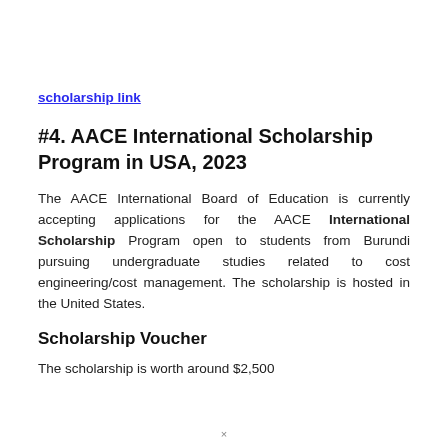scholarship link
#4. AACE International Scholarship Program in USA, 2023
The AACE International Board of Education is currently accepting applications for the AACE International Scholarship Program open to students from Burundi pursuing undergraduate studies related to cost engineering/cost management. The scholarship is hosted in the United States.
Scholarship Voucher
The scholarship is worth around $2,500